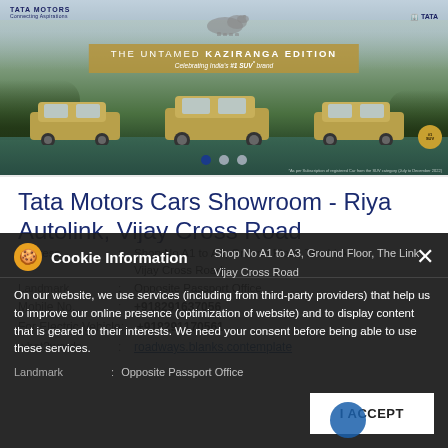[Figure (photo): Tata Motors advertisement banner showing the Kaziranga Edition SUVs in a nature/wetland setting with a rhino silhouette. Text reads: THE UNTAMED KAZIRANGA EDITION. Celebrating India's #1 SUV brand.]
Tata Motors Cars Showroom - Riya Autolink, Vijay Cross Road
Address : Shop No A1 to A3, Ground Floor, The Link, Vijay Cross Road
Landmark : Opposite Passport Office
Mobile No. : +918291637056
For Electric Vehicle : +918291170561
what3words : roadways.blanks.contemplate
Cookie Information
On our website, we use services (including from third-party providers) that help us to improve our online presence (optimization of website) and to display content that is geared to their interests. We need your consent before being able to use these services.
I ACCEPT